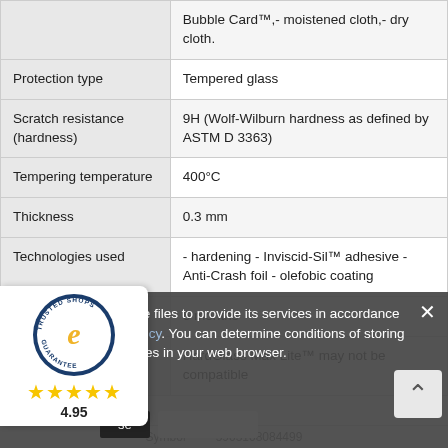| Property | Value |
| --- | --- |
|  | Bubble Card™,- moistened cloth,- dry cloth. |
| Protection type | Tempered glass |
| Scratch resistance (hardness) | 9H (Wolf-Wilburn hardness as defined by ASTM D 3363) |
| Tempering temperature | 400°C |
| Thickness | 0.3 mm |
| Technologies used | - hardening - Inviscid-Sil™ adhesive - Anti-Crash foil - olefobic coating |
| Warranty | 6 months |
| Please note | HardGlass Max Lite™ may not be compatible |
[Figure (logo): Trusted Shops guarantee badge with 4.95 star rating]
This page uses cookie files to provide its services in accordance to Cookies Usage Policy. You can determine conditions of storing or access to cookie files in your web browser.
Symbol    5903108084499